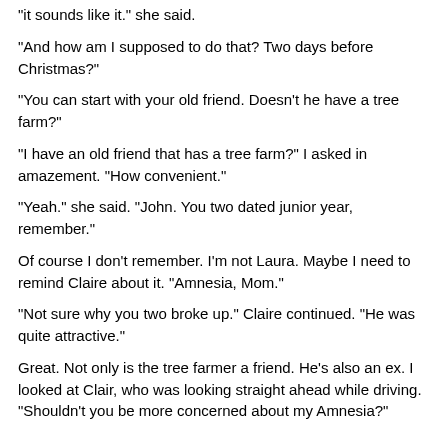“it sounds like it.” she said.
“And how am I supposed to do that? Two days before Christmas?”
“You can start with your old friend. Doesn’t he have a tree farm?”
“I have an old friend that has a tree farm?” I asked in amazement. “How convenient.”
“Yeah.” she said. “John. You two dated junior year, remember.”
Of course I don’t remember. I’m not Laura. Maybe I need to remind Claire about it. “Amnesia, Mom.”
“Not sure why you two broke up.” Claire continued. “He was quite attractive.”
Great. Not only is the tree farmer a friend. He’s also an ex. I looked at Clair, who was looking straight ahead while driving. “Shouldn't you be more concerned about my Amnesia?”